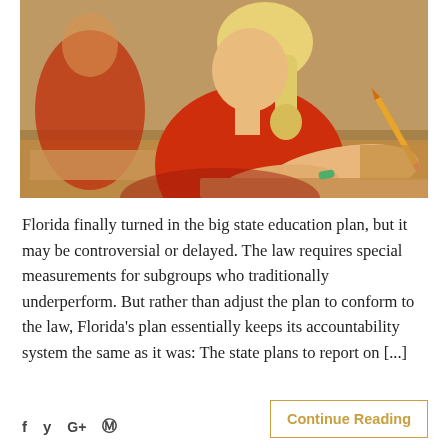[Figure (photo): A young blonde girl in a red shirt sitting at a desk in a classroom, writing with a pencil. Other students and desks are visible in the blurred background.]
Florida finally turned in the big state education plan, but it may be controversial or delayed. The law requires special measurements for subgroups who traditionally underperform. But rather than adjust the plan to conform to the law, Florida's plan essentially keeps its accountability system the same as it was: The state plans to report on [...]